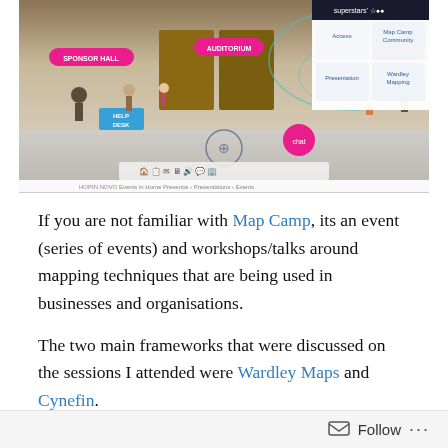[Figure (screenshot): Screenshot of a virtual event platform (HOPIN-style) showing a 3D lobby with Sponsor Hall, Auditorium, Help Desk labels, and a navigation bar. A menu panel in the top right shows 'superstars' branding with options including Map Camp Community, Presentation, and Wardley Mapping.]
If you are not familiar with Map Camp, its an event (series of events) and workshops/talks around mapping techniques that are being used in businesses and organisations.
The two main frameworks that were discussed on the sessions I attended were Wardley Maps and Cynefin.
There were a number of sessions held across the day that consisted of 3 presentations 15 mins each and a Q&A
Follow